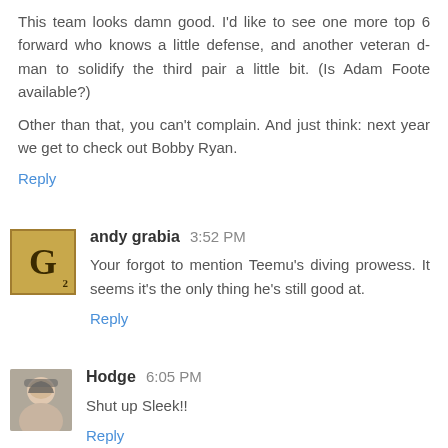This team looks damn good. I'd like to see one more top 6 forward who knows a little defense, and another veteran d-man to solidify the third pair a little bit. (Is Adam Foote available?)
Other than that, you can't complain. And just think: next year we get to check out Bobby Ryan.
Reply
andy grabia 3:52 PM
Your forgot to mention Teemu's diving prowess. It seems it's the only thing he's still good at.
Reply
Hodge 6:05 PM
Shut up Sleek!!
Reply